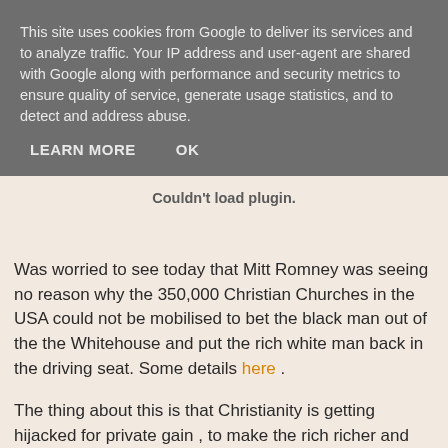This site uses cookies from Google to deliver its services and to analyze traffic. Your IP address and user-agent are shared with Google along with performance and security metrics to ensure quality of service, generate usage statistics, and to detect and address abuse.
LEARN MORE   OK
Couldn't load plugin.
Was worried to see today that Mitt Romney was seeing no reason why the 350,000 Christian Churches in the USA could not be mobilised to bet the black man out of the the Whitehouse and put the rich white man back in the driving seat. Some details here .
The thing about this is that Christianity is getting hijacked for private gain , to make the rich richer and anyone else an